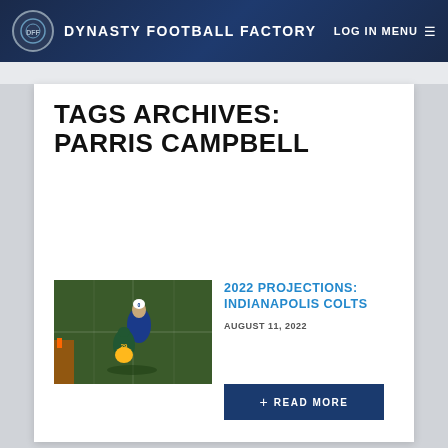DYNASTY FOOTBALL FACTORY  LOG IN MENU
TAGS ARCHIVES: PARRIS CAMPBELL
[Figure (photo): Football game action photo showing players on field, one player in blue Colts uniform and one in green and yellow Packers uniform]
2022 PROJECTIONS: INDIANAPOLIS COLTS
AUGUST 11, 2022
+ READ MORE